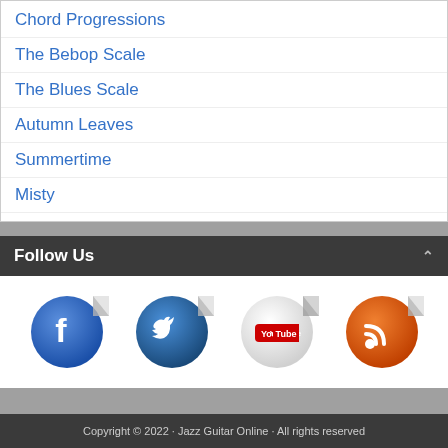Chord Progressions
The Bebop Scale
The Blues Scale
Autumn Leaves
Summertime
Misty
Follow Us
[Figure (illustration): Four social media sticker icons: Facebook (blue circle with white F), Twitter (dark blue circle with white bird), YouTube (white/gray circle with red YouTube logo), RSS (orange circle with white RSS signal icon). Each has a peeling sticker effect.]
Copyright © 2022 · Jazz Guitar Online · All rights reserved